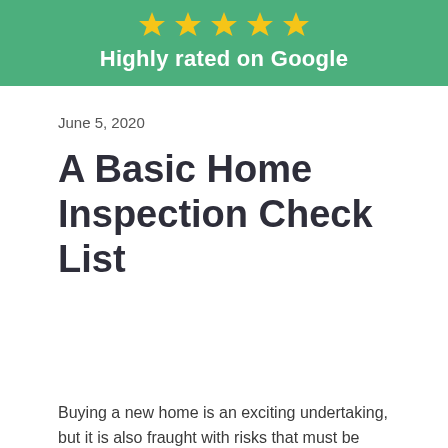[Figure (infographic): Green banner with five gold stars and white bold text reading 'Highly rated on Google']
June 5, 2020
A Basic Home Inspection Check List
Buying a new home is an exciting undertaking, but it is also fraught with risks that must be